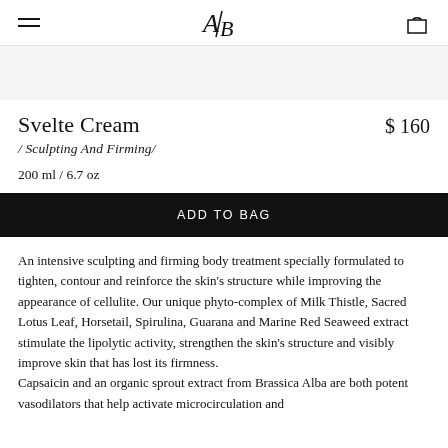AB logo, hamburger menu, bag icon
Svelte Cream
$ 160
/ Sculpting And Firming/
200 ml / 6.7 oz
ADD TO BAG
An intensive sculpting and firming body treatment specially formulated to tighten, contour and reinforce the skin's structure while improving the appearance of cellulite. Our unique phyto-complex of Milk Thistle, Sacred Lotus Leaf, Horsetail, Spirulina, Guarana and Marine Red Seaweed extract stimulate the lipolytic activity, strengthen the skin's structure and visibly improve skin that has lost its firmness. Capsaicin and an organic sprout extract from Brassica Alba are both potent vasodilators that help activate microcirculation and